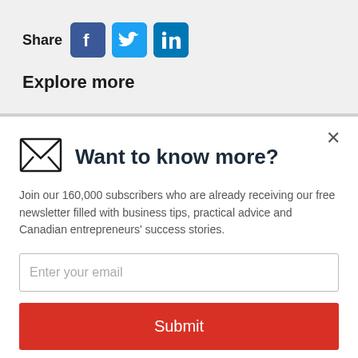Share
[Figure (logo): Facebook, Twitter, and LinkedIn social share icons]
Explore more
Want to know more?
Join our 160,000 subscribers who are already receiving our free newsletter filled with business tips, practical advice and Canadian entrepreneurs' success stories.
Enter your email
Submit